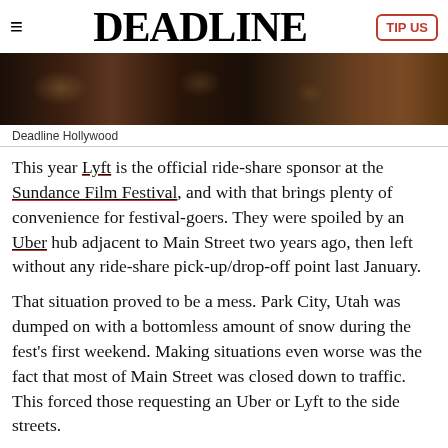DEADLINE
[Figure (photo): Dark interior photo of what appears to be a restaurant or bar with dim lighting and shelves in the background]
Deadline Hollywood
This year Lyft is the official ride-share sponsor at the Sundance Film Festival, and with that brings plenty of convenience for festival-goers. They were spoiled by an Uber hub adjacent to Main Street two years ago, then left without any ride-share pick-up/drop-off point last January.
That situation proved to be a mess. Park City, Utah was dumped on with a bottomless amount of snow during the fest's first weekend. Making situations even worse was the fact that most of Main Street was closed down to traffic. This forced those requesting an Uber or Lyft to the side streets.
This year's relief in Lyft brings a pick-up/drop-off hub in Swede Alley right in the middle of Main Street, which opens tonight.